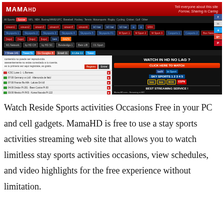[Figure (screenshot): Screenshot of MamaHD website showing a sports streaming interface with navigation bar, channel logos (beIN, BT Sport, Sky Sports, ESPN), a listings panel with match entries, and a 'Watch in HD No Lag' advertisement panel. Social media share buttons visible on the right.]
Watch Reside Sports activities Occasions Free in your PC and cell gadgets. MamaHD is free to use a stay sports activities streaming web site that allows you to watch limitless stay sports activities occasions, view schedules, and video highlights for the free experience without limitation.